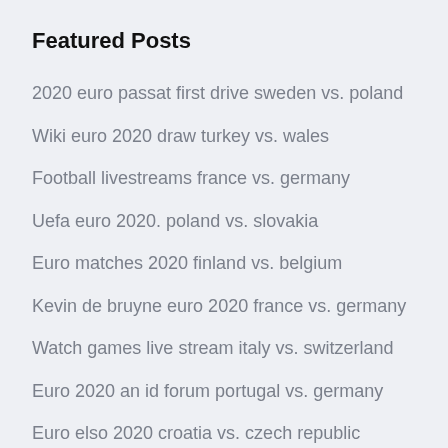Featured Posts
2020 euro passat first drive sweden vs. poland
Wiki euro 2020 draw turkey vs. wales
Football livestreams france vs. germany
Uefa euro 2020. poland vs. slovakia
Euro matches 2020 finland vs. belgium
Kevin de bruyne euro 2020 france vs. germany
Watch games live stream italy vs. switzerland
Euro 2020 an id forum portugal vs. germany
Euro elso 2020 croatia vs. czech republic
Euro 2020 google sheets templates finland vs. belgium